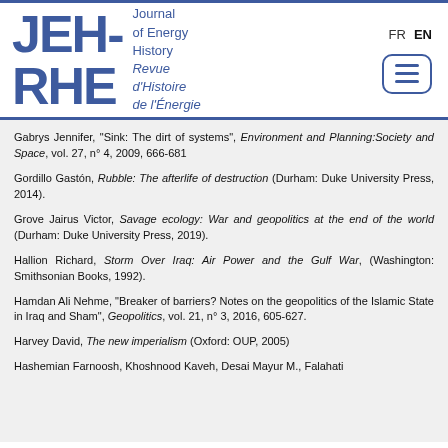[Figure (logo): JEH-RHE Journal of Energy History / Revue d'Histoire de l'Énergie logo with blue lettering and language switcher FR/EN and hamburger menu button]
Gabrys Jennifer, "Sink: The dirt of systems", Environment and Planning:Society and Space, vol. 27, n° 4, 2009, 666-681
Gordillo Gastón, Rubble: The afterlife of destruction (Durham: Duke University Press, 2014).
Grove Jairus Victor, Savage ecology: War and geopolitics at the end of the world (Durham: Duke University Press, 2019).
Hallion Richard, Storm Over Iraq: Air Power and the Gulf War, (Washington: Smithsonian Books, 1992).
Hamdan Ali Nehme, "Breaker of barriers? Notes on the geopolitics of the Islamic State in Iraq and Sham", Geopolitics, vol. 21, n° 3, 2016, 605-627.
Harvey David, The new imperialism (Oxford: OUP, 2005)
Hashemian Farnoosh, Khoshnood Kaveh, Desai Mayur M., Falahati